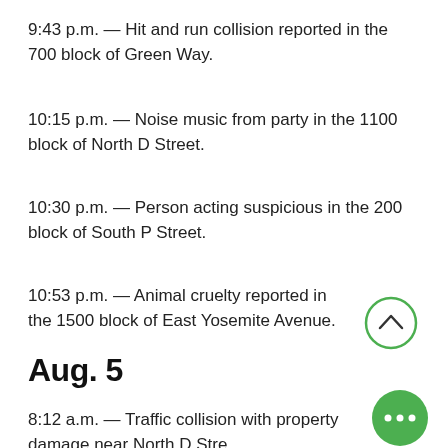9:43 p.m. — Hit and run collision reported in the 700 block of Green Way.
10:15 p.m. — Noise music from party in the 1100 block of North D Street.
10:30 p.m. — Person acting suspicious in the 200 block of South P Street.
10:53 p.m. — Animal cruelty reported in the 1500 block of East Yosemite Avenue.
Aug. 5
8:12 a.m. — Traffic collision with property damage near North D Street and East Lincoln Avenue.